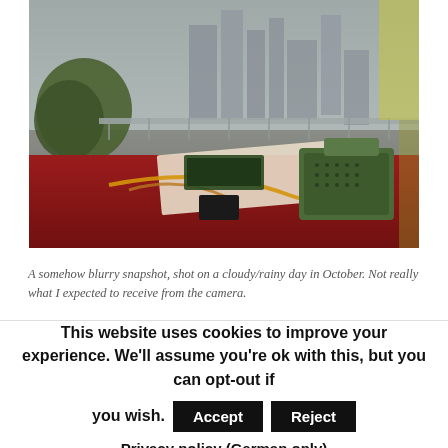[Figure (photo): A blurry outdoor photo taken on a rooftop or terrace on a cloudy/rainy day in October. A red table is in the foreground with electronic equipment including a green device and wiring. City skyscrapers are visible in the background along with trees and a metal railing/fence.]
A somehow blurry snapshot, shot on a cloudy/rainy day in October. Not really what I expected to receive from the camera.
This website uses cookies to improve your experience. We'll assume you're ok with this, but you can opt-out if you wish. Accept Reject Privacy policy (German only)